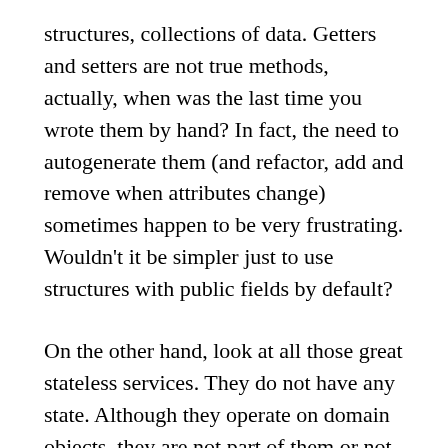structures, collections of data. Getters and setters are not true methods, actually, when was the last time you wrote them by hand? In fact, the need to autogenerate them (and refactor, add and remove when attributes change) sometimes happen to be very frustrating. Wouldn't it be simpler just to use structures with public fields by default?
On the other hand, look at all those great stateless services. They do not have any state. Although they operate on domain objects, they are not part of them or not even aggregate them (low cohesion). All the data is passed explicitly through the method parameters. They aren't objects as well